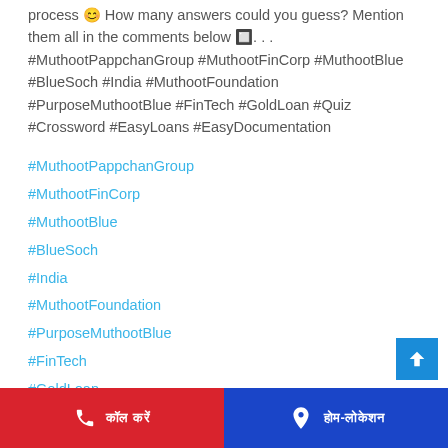process 😊 How many answers could you guess? Mention them all in the comments below 🔲. . . #MuthootPappchanGroup #MuthootFinCorp #MuthootBlue #BlueSoch #India #MuthootFoundation #PurposeMuthootBlue #FinTech #GoldLoan #Quiz #Crossword #EasyLoans #EasyDocumentation
#MuthootPappchanGroup
#MuthootFinCorp
#MuthootBlue
#BlueSoch
#India
#MuthootFoundation
#PurposeMuthootBlue
#FinTech
#GoldLoan
#Quiz
कॉल करें   होम-लोकेशन